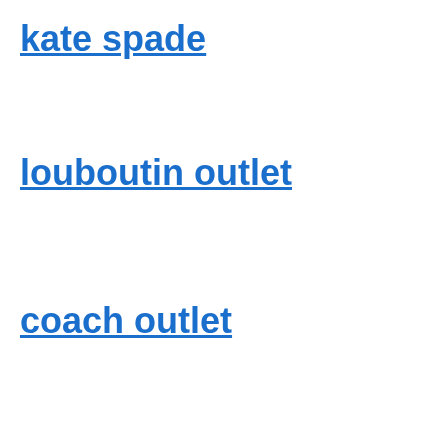kate spade
louboutin outlet
coach outlet